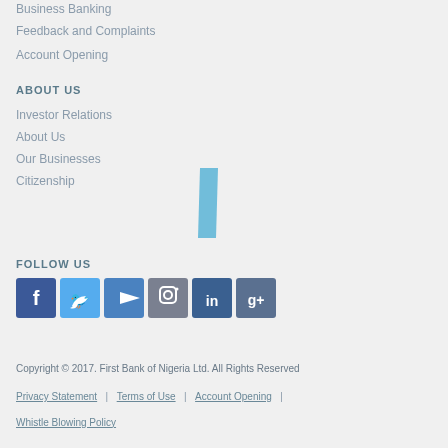Business Banking
Feedback and Complaints
Account Opening
ABOUT US
Investor Relations
About Us
Our Businesses
Citizenship
[Figure (logo): First Bank of Nigeria italic slash logo mark in blue]
FOLLOW US
[Figure (infographic): Social media icon bar: Facebook, Twitter, YouTube, Instagram, LinkedIn, Google+]
Copyright © 2017. First Bank of Nigeria Ltd. All Rights Reserved
Privacy Statement | Terms of Use | Account Opening | Whistle Blowing Policy